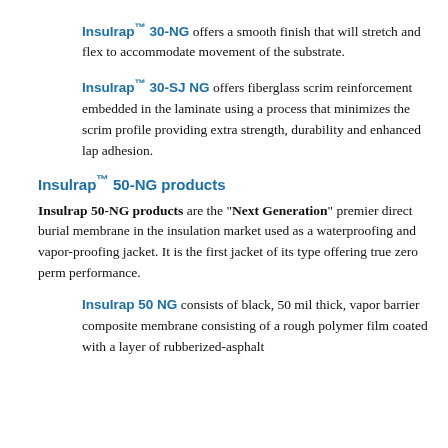Insulrap™ 30-NG offers a smooth finish that will stretch and flex to accommodate movement of the substrate.
Insulrap™ 30-SJ NG offers fiberglass scrim reinforcement embedded in the laminate using a process that minimizes the scrim profile providing extra strength, durability and enhanced lap adhesion.
Insulrap™ 50-NG products
Insulrap 50-NG products are the "Next Generation" premier direct burial membrane in the insulation market used as a waterproofing and vapor-proofing jacket. It is the first jacket of its type offering true zero perm performance.
Insulrap 50 NG consists of black, 50 mil thick, vapor barrier composite membrane consisting of a rough polymer film coated with a layer of rubberized-asphalt